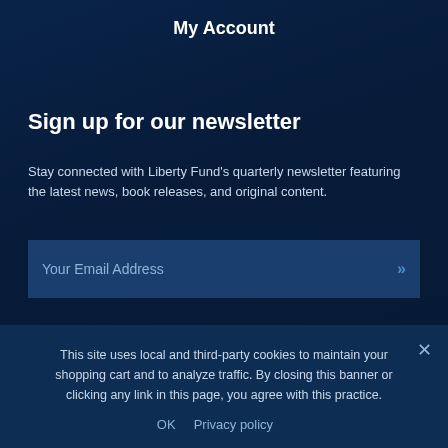My Account
Sign up for our newsletter
Stay connected with Liberty Fund's quarterly newsletter featuring the latest news, book releases, and original content.
Your Email Address »
This site uses local and third-party cookies to maintain your shopping cart and to analyze traffic. By closing this banner or clicking any link in this page, you agree with this practice.
OK  Privacy policy